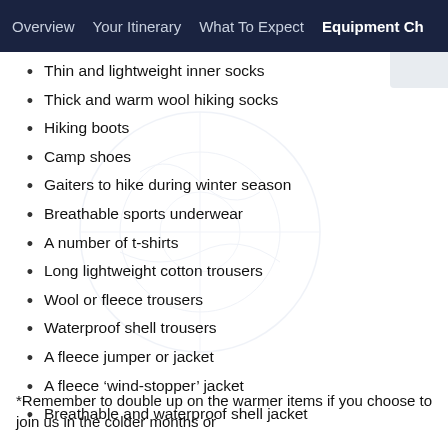Overview   Your Itinerary   What To Expect   Equipment Ch
Thin and lightweight inner socks
Thick and warm wool hiking socks
Hiking boots
Camp shoes
Gaiters to hike during winter season
Breathable sports underwear
A number of t-shirts
Long lightweight cotton trousers
Wool or fleece trousers
Waterproof shell trousers
A fleece jumper or jacket
A fleece ‘wind-stopper’ jacket
Breathable and waterproof shell jacket
*Remember to double up on the warmer items if you choose to join us in the colder months or